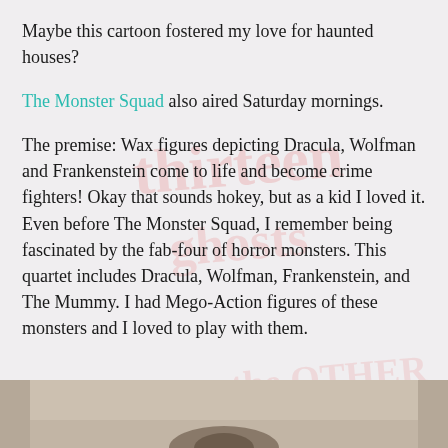Maybe this cartoon fostered my love for haunted houses?
The Monster Squad also aired Saturday mornings.
The premise: Wax figures depicting Dracula, Wolfman and Frankenstein come to life and become crime fighters! Okay that sounds hokey, but as a kid I loved it. Even before The Monster Squad, I remember being fascinated by the fab-four of horror monsters. This quartet includes Dracula, Wolfman, Frankenstein, and The Mummy. I had Mego-Action figures of these monsters and I loved to play with them.
[Figure (photo): Bottom portion of a photo showing what appears to be a person or figure, partially cropped]